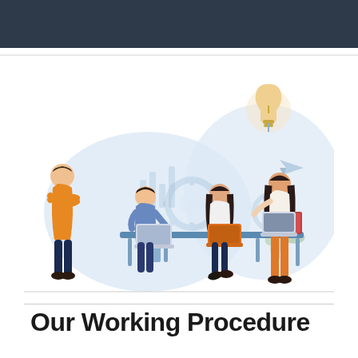[Figure (illustration): Flat vector illustration of a team working together at a desk. Four people are shown: a man in an orange sweater standing with arms crossed, a man in blue seated at the table working on a laptop, a woman in white seated working on an orange laptop, and a woman in orange pants standing and presenting while holding a book. In the background there is a light blue blob shape, gear icons, a bar chart, a lightbulb, plant leaves, and a paper airplane. The overall color palette is soft blues, oranges, and whites.]
Our Working Procedure